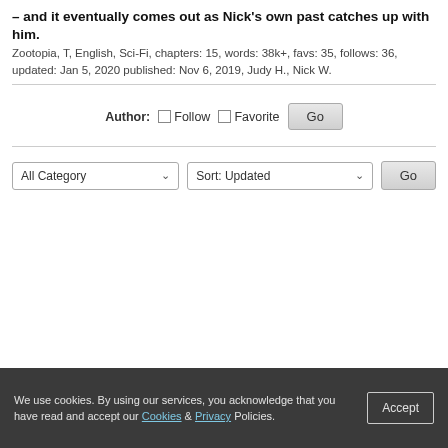– and it eventually comes out as Nick's own past catches up with him. Zootopia, T, English, Sci-Fi, chapters: 15, words: 38k+, favs: 35, follows: 36, updated: Jan 5, 2020 published: Nov 6, 2019, Judy H., Nick W.
Author: Follow Favorite Go
All Category Sort: Updated Go
We use cookies. By using our services, you acknowledge that you have read and accept our Cookies & Privacy Policies. Accept